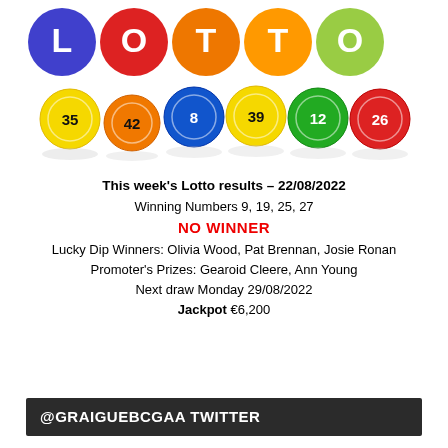[Figure (illustration): Colorful LOTTO logo with lottery balls showing numbers 35, 42, 8, 39, 12, 26 on a white background]
This week's Lotto results – 22/08/2022
Winning Numbers 9, 19, 25, 27
NO WINNER
Lucky Dip Winners: Olivia Wood, Pat Brennan, Josie Ronan
Promoter's Prizes: Gearoid Cleere, Ann Young
Next draw Monday 29/08/2022
Jackpot €6,200
@GRAIGUEBCGAA TWITTER